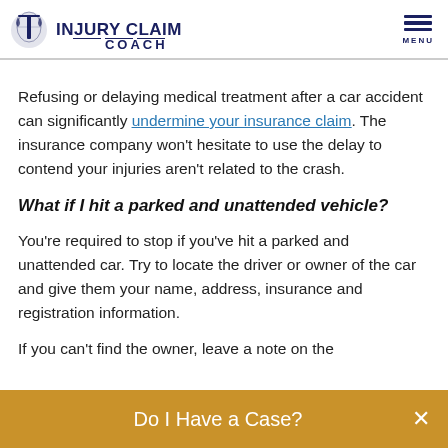INJURY CLAIM COACH
Refusing or delaying medical treatment after a car accident can significantly undermine your insurance claim. The insurance company won't hesitate to use the delay to contend your injuries aren't related to the crash.
What if I hit a parked and unattended vehicle?
You're required to stop if you've hit a parked and unattended car. Try to locate the driver or owner of the car and give them your name, address, insurance and registration information.
If you can't find the owner, leave a note on the
Do I Have a Case?